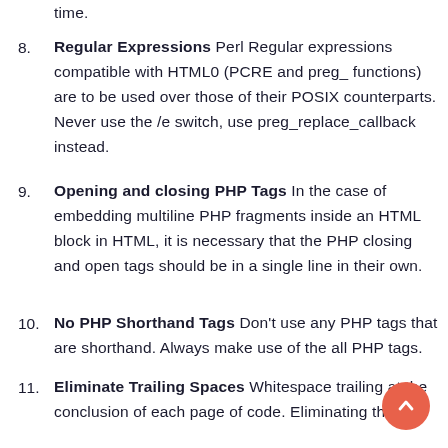time.
Regular Expressions Perl Regular expressions compatible with HTML0 (PCRE and preg_ functions) are to be used over those of their POSIX counterparts. Never use the /e switch, use preg_replace_callback instead.
Opening and closing PHP Tags In the case of embedding multiline PHP fragments inside an HTML block in HTML, it is necessary that the PHP closing and open tags should be in a single line in their own.
No PHP Shorthand Tags Don't use any PHP tags that are shorthand. Always make use of the all PHP tags.
Eliminate Trailing Spaces Whitespace trailing at the conclusion of each page of code. Eliminating the f...